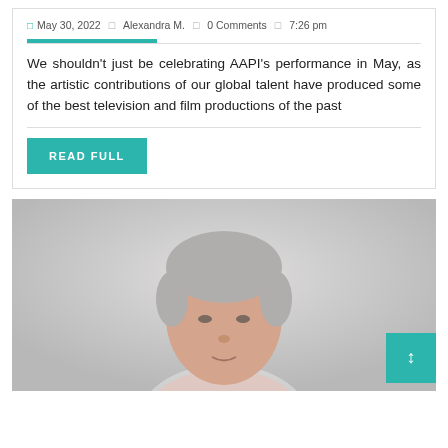May 30, 2022  Alexandra M.  0 Comments  7:26 pm
We shouldn't just be celebrating AAPI's performance in May, as the artistic contributions of our global talent have produced some of the best television and film productions of the past
READ FULL
[Figure (photo): Portrait photo of an older man with gray hair, cropped at head and shoulders, shown against a light gray background.]